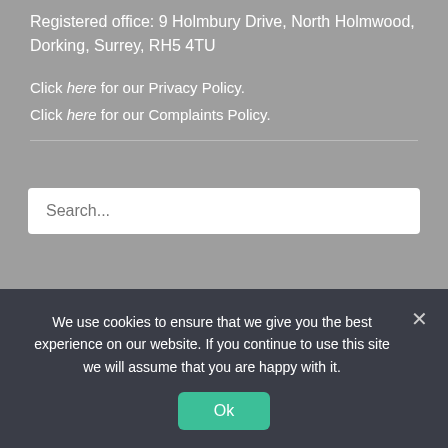Registered office: 9 Holmbury Drive, North Holmwood, Dorking, Surrey, RH5 4TU
Click here for our Privacy Policy.
Click here for our Complaints Policy.
Search...
City and Guilds qualified builder since 1986.
HETAS certified stove installer since 2008.
Which? Trusted Trader since 2014.
We use cookies to ensure that we give you the best experience on our website. If you continue to use this site we will assume that you are happy with it.